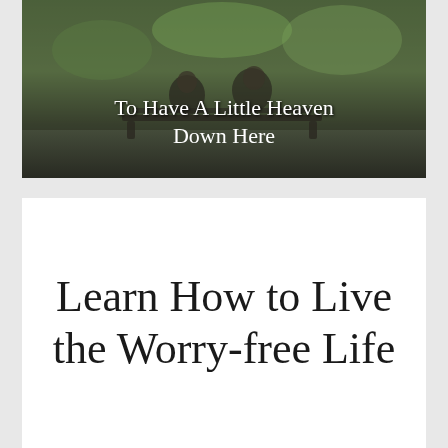[Figure (photo): A darkened outdoor photo showing two people sitting on a park bench, with green foliage in the background. White text overlaid reads 'To Have A Little Heaven Down Here'.]
Learn How to Live the Worry-free Life